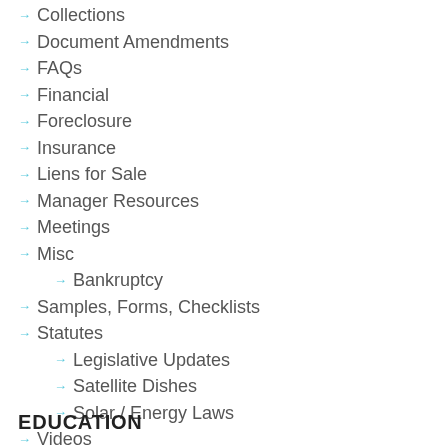Collections
Document Amendments
FAQs
Financial
Foreclosure
Insurance
Liens for Sale
Manager Resources
Meetings
Misc
Bankruptcy
Samples, Forms, Checklists
Statutes
Legislative Updates
Satellite Dishes
Solar / Energy Laws
Videos
EDUCATION